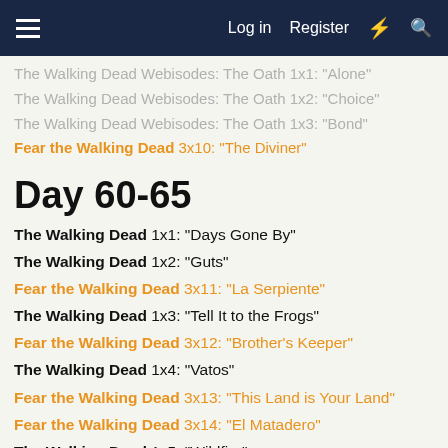Log in  Register
The Walking Dead Webisodes: The Oath 1x1: "Alone"
The Walking Dead Webisodes: The Oath 1x2: "Choice"
The Walking Dead Webisodes: The Oath 1x3: "Bond"
Fear the Walking Dead 3x10: "The Diviner"
Day 60-65
The Walking Dead 1x1: "Days Gone By"
The Walking Dead 1x2: "Guts"
Fear the Walking Dead 3x11: "La Serpiente"
The Walking Dead 1x3: "Tell It to the Frogs"
Fear the Walking Dead 3x12: "Brother's Keeper"
The Walking Dead 1x4: "Vatos"
Fear the Walking Dead 3x13: "This Land is Your Land"
Fear the Walking Dead 3x14: "El Matadero"
The Walking Dead 1x5: "Wildfire"
Fear the Walking Dead 3x15: "Things Bad Begun"
The Walking Dead 1x6: "TS-19"
Fear the Walking Dead 3x16: "Sleigh Ride"